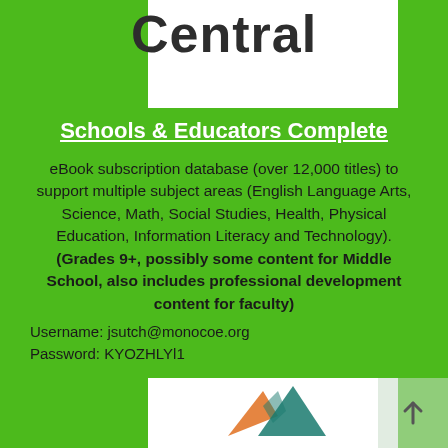Central
Schools & Educators Complete
eBook subscription database (over 12,000 titles) to support multiple subject areas (English Language Arts, Science, Math, Social Studies, Health, Physical Education, Information Literacy and Technology). (Grades 9+, possibly some content for Middle School, also includes professional development content for faculty)
Username: jsutch@monocoe.org
Password: KYOZHLYl1
[Figure (logo): Mountain logo with orange and teal/green triangular peaks at the bottom of the page]